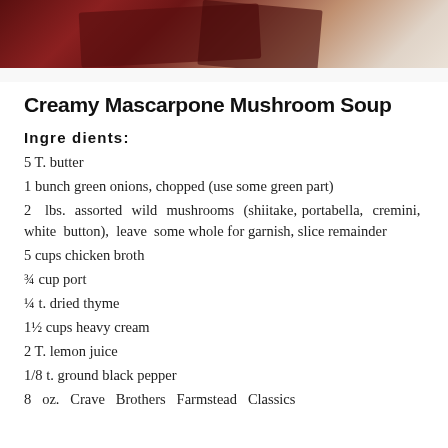[Figure (photo): Partial photo of a dark reddish-brown ceramic or wooden object at the top of the page]
Creamy Mascarpone Mushroom Soup
Ingredients:
5 T. butter
1 bunch green onions, chopped (use some green part)
2 lbs. assorted wild mushrooms (shiitake, portabella, cremini, white button), leave some whole for garnish, slice remainder
5 cups chicken broth
¾ cup port
¼ t. dried thyme
1½ cups heavy cream
2 T. lemon juice
1/8 t. ground black pepper
8 oz. Crave Brothers Farmstead Classics